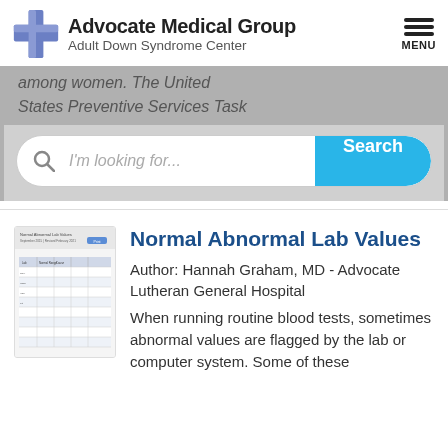[Figure (logo): Advocate Medical Group logo with blue cross and text 'Advocate Medical Group / Adult Down Syndrome Center']
among women. The United States Preventive Services Task...
I'm looking for...
Search
[Figure (screenshot): Thumbnail image of Normal Abnormal Lab Values document]
Normal Abnormal Lab Values
Author: Hannah Graham, MD - Advocate Lutheran General Hospital
When running routine blood tests, sometimes abnormal values are flagged by the lab or computer system. Some of these